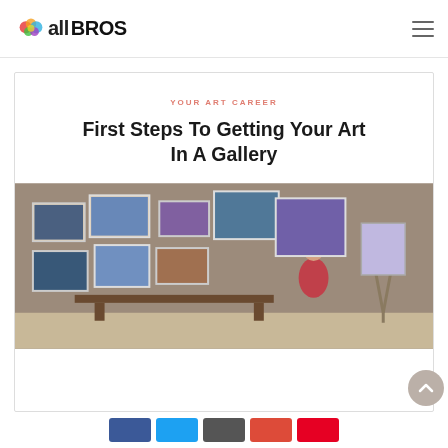all BROS
YOUR ART CAREER
First Steps To Getting Your Art In A Gallery
[Figure (photo): A woman in a red dress standing in an art gallery with paintings hung on a brick wall and an easel with artwork to the right.]
Social share buttons: Facebook, Twitter, Pinterest, Google+, Share